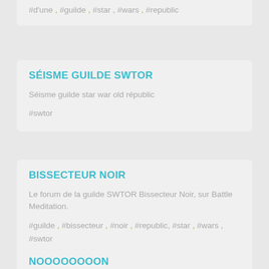#d'une , #guilde , #star , #wars , #republic
SÉISME GUILDE SWTOR
Séisme guilde star war old républic
#swtor
BISSECTEUR NOIR
Le forum de la guilde SWTOR Bissecteur Noir, sur Battle Meditation.
#guilde , #bissecteur , #noir , #republic, #star , #wars , #swtor
NOOOOOOOON